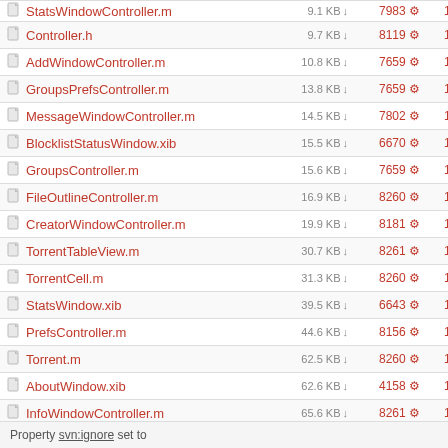| Filename | Size | Rev | Age |
| --- | --- | --- | --- |
| StatsWindowController.m | 9.1 KB | 7983 | 14 years |
| Controller.h | 9.7 KB | 8119 | 13 years |
| AddWindowController.m | 10.8 KB | 7659 | 14 years |
| GroupsPrefsController.m | 13.8 KB | 7659 | 14 years |
| MessageWindowController.m | 14.5 KB | 7802 | 14 years |
| BlocklistStatusWindow.xib | 15.5 KB | 6670 | 14 years |
| GroupsController.m | 15.6 KB | 7659 | 14 years |
| FileOutlineController.m | 16.9 KB | 8260 | 13 years |
| CreatorWindowController.m | 19.9 KB | 8181 | 13 years |
| TorrentTableView.m | 30.7 KB | 8261 | 13 years |
| TorrentCell.m | 31.3 KB | 8260 | 13 years |
| StatsWindow.xib | 39.5 KB | 6643 | 14 years |
| PrefsController.m | 44.6 KB | 8156 | 13 years |
| Torrent.m | 62.5 KB | 8260 | 13 years |
| AboutWindow.xib | 62.6 KB | 4158 | 15 years |
| InfoWindowController.m | 65.6 KB | 8261 | 13 years |
| Controller.m | 152.6 KB | 8156 | 13 years |
| MessageWindow.xib | 155.5 KB | 6643 | 14 years |
Property svn:ignore set to